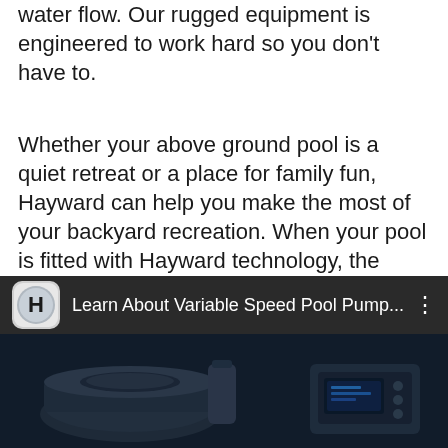water flow. Our rugged equipment is engineered to work hard so you don't have to.
Whether your above ground pool is a quiet retreat or a place for family fun, Hayward can help you make the most of your backyard recreation. When your pool is fitted with Hayward technology, the world's leading provider of above ground equipment, daily maintenance becomes a thing of the past.
[Figure (screenshot): YouTube-style video thumbnail panel with Hayward logo, title 'Learn About Variable Speed Pool Pump...' and a dark thumbnail showing pool pump equipment]